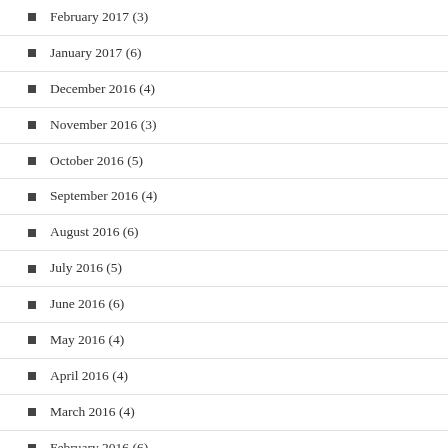February 2017 (3)
January 2017 (6)
December 2016 (4)
November 2016 (3)
October 2016 (5)
September 2016 (4)
August 2016 (6)
July 2016 (5)
June 2016 (6)
May 2016 (4)
April 2016 (4)
March 2016 (4)
February 2016 (6)
January 2016 (8)
December 2015 (9)